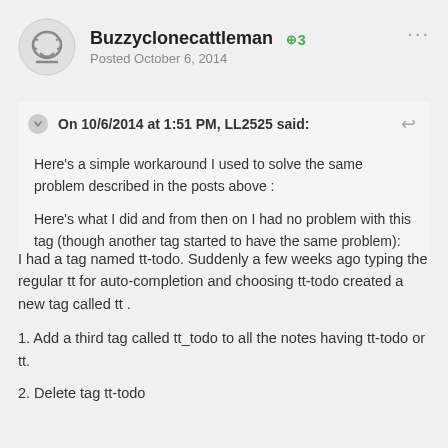Buzzyclonecattleman +3 Posted October 6, 2014
On 10/6/2014 at 1:51 PM, LL2525 said:
Here's a simple workaround I used to solve the same problem described in the posts above :
Here's what I did and from then on I had no problem with this tag (though another tag started to have the same problem):
I had a tag named tt-todo. Suddenly a few weeks ago typing the regular tt for auto-completion and choosing tt-todo created a new tag called tt .
1. Add a third tag called tt_todo to all the notes having tt-todo or tt.
2. Delete tag tt-todo